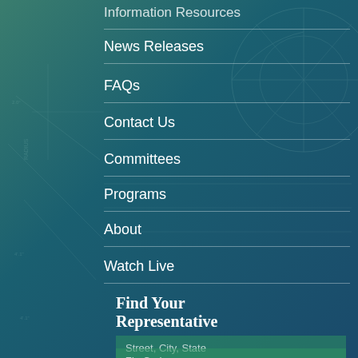Information Resources
News Releases
FAQs
Contact Us
Committees
Programs
About
Watch Live
Find Your Representative
Street, City, State
Zip Code
Search